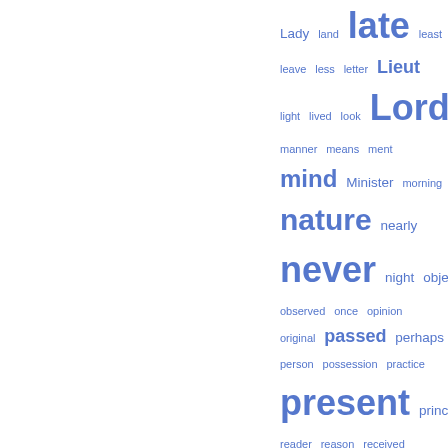[Figure (infographic): A word cloud displayed on the right half of the page. Words are rendered in varying sizes in blue color indicating frequency/importance. Words include: Lady, land, late, least, leave, less, letter, Lieut, light, lived, look, Lord, manner, means, ment, mind, Minister, morning, nature, nearly, never, night, object, observed, once, opinion, original, passed, perhaps, person, possession, practice, present, principles, reader, reason, received, respect, Scotland, seemed, seen, short, society, soon, spirit, taken, thing, thought, tion, true, turned, University, vice, whole, writing, young]